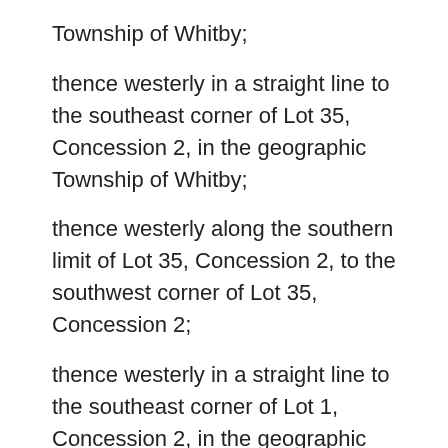Township of Whitby;
thence westerly in a straight line to the southeast corner of Lot 35, Concession 2, in the geographic Township of Whitby;
thence westerly along the southern limit of Lot 35, Concession 2, to the southwest corner of Lot 35, Concession 2;
thence westerly in a straight line to the southeast corner of Lot 1, Concession 2, in the geographic Township of Pickering (now in the Town of Ajax);
thence southerly in a straight line to the northeast corner of Lot 1, Concession 1,